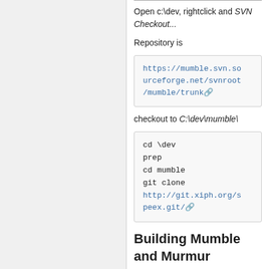Open c:\dev, rightclick and SVN Checkout...
Repository is
https://mumble.svn.sourceforge.net/svnroot/mumble/trunk
checkout to C:\dev\mumble\
cd \dev
prep
cd mumble
git clone
http://git.xiph.org/speex.git/
Building Mumble and Murmur